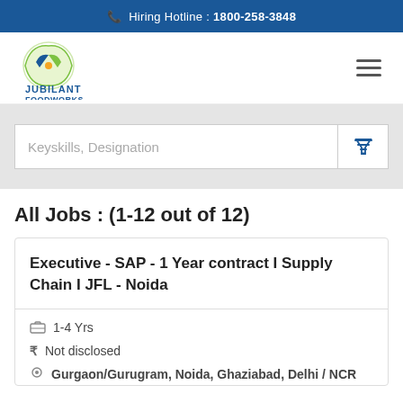Hiring Hotline : 1800-258-3848
[Figure (logo): Jubilant FoodWorks logo with blue bird/leaf emblem and blue text]
Keyskills, Designation
All Jobs : (1-12 out of 12)
Executive - SAP - 1 Year contract I Supply Chain I JFL - Noida
1-4 Yrs
Not disclosed
Gurgaon/Gurugram, Noida, Ghaziabad, Delhi / NCR